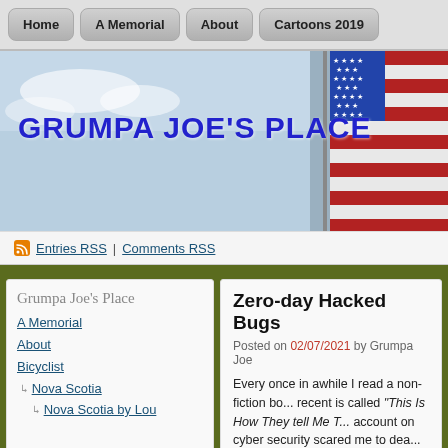Home | A Memorial | About | Cartoons 2019
[Figure (illustration): Website header banner with sky and American flag background, site title 'GRUMPA JOE'S PLACE' in large blue bold text]
GRUMPA JOE'S PLACE
Entries RSS | Comments RSS
Grumpa Joe's Place
A Memorial
About
Bicyclist
Nova Scotia
Nova Scotia by Lou
Zero-day Hacked Bugs
Posted on 02/07/2021 by Grumpa Joe
Every once in awhile I read a non-fiction bo... recent is called "This Is How They tell Me T... account on cyber security scared me to dea... general. It is my conclusion that the only wa... internet is to shut off the computer and pull ... using a laptop the only way I can think of is